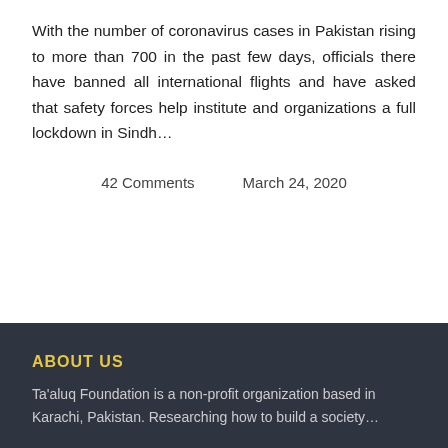With the number of coronavirus cases in Pakistan rising to more than 700 in the past few days, officials there have banned all international flights and have asked that safety forces help institute and organizations a full lockdown in Sindh…
42 Comments    March 24, 2020
ABOUT US
Ta'aluq Foundation is a non-profit organization based in Karachi, Pakistan. Researching how to build a society…